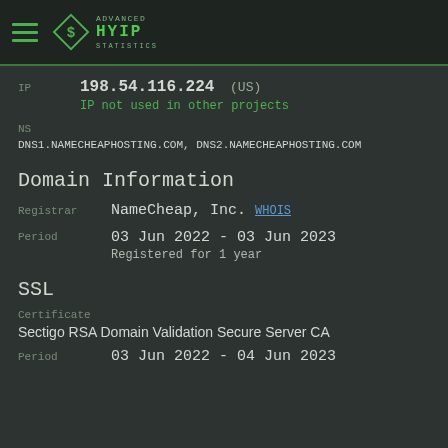Advanced HYIP Statistics
IP  198.54.116.224 (US)
IP not used in other projects
NS
DNS1.NAMECHEAPHOSTING.COM, DNS2.NAMECHEAPHOSTING.COM
Domain Information
Registrar  NameCheap, Inc.  WHOIS
Period  03 Jun 2022 - 03 Jun 2023
Registered for 1 year
SSL
Certificate
Sectigo RSA Domain Validation Secure Server CA
Period  03 Jun 2022 - 04 Jun 2023